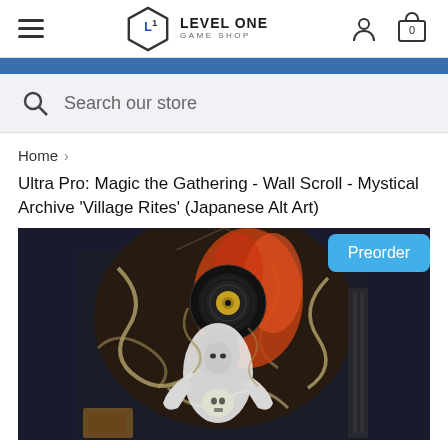Level One Game Shop — navigation header with hamburger menu, logo, user icon, and cart icon (0 items)
Search our store
Home >
Ultra Pro: Magic the Gathering - Wall Scroll - Mystical Archive 'Village Rites' (Japanese Alt Art)
[Figure (photo): Wall scroll product image featuring Japanese alt art 'Village Rites' from Magic the Gathering Mystical Archive. Shows a mystical figure in white robes with a skull, surrounded by swirling dark patterns and a large eye with orange flames and a vinyl record. A 'Preorder' badge appears in the top right corner.]